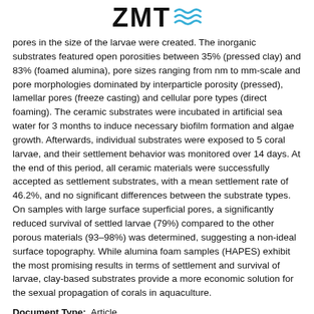ZMT [logo with waves]
pores in the size of the larvae were created. The inorganic substrates featured open porosities between 35% (pressed clay) and 83% (foamed alumina), pore sizes ranging from nm to mm-scale and pore morphologies dominated by interparticle porosity (pressed), lamellar pores (freeze casting) and cellular pore types (direct foaming). The ceramic substrates were incubated in artificial sea water for 3 months to induce necessary biofilm formation and algae growth. Afterwards, individual substrates were exposed to 5 coral larvae, and their settlement behavior was monitored over 14 days. At the end of this period, all ceramic materials were successfully accepted as settlement substrates, with a mean settlement rate of 46.2%, and no significant differences between the substrate types. On samples with large surface superficial pores, a significantly reduced survival of settled larvae (79%) compared to the other porous materials (93–98%) was determined, suggesting a non-ideal surface topography. While alumina foam samples (HAPES) exhibit the most promising results in terms of settlement and survival of larvae, clay-based substrates provide a more economic solution for the sexual propagation of corals in aquaculture.
Document Type:  Article